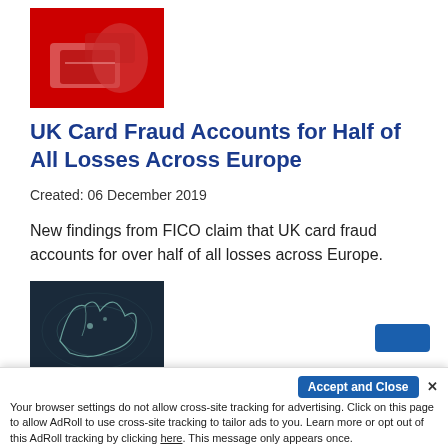[Figure (photo): Red-tinted photo of hands holding a credit card and a mobile phone]
UK Card Fraud Accounts for Half of All Losses Across Europe
Created: 06 December 2019
New findings from FICO claim that UK card fraud accounts for over half of all losses across Europe.
[Figure (photo): Dark image showing a map of Europe with glowing/splashing effect]
Accept and Close ✕
Your browser settings do not allow cross-site tracking for advertising. Click on this page to allow AdRoll to use cross-site tracking to tailor ads to you. Learn more or opt out of this AdRoll tracking by clicking here. This message only appears once.